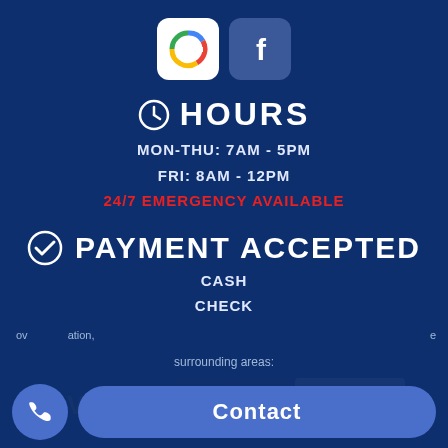[Figure (logo): Google and Facebook social media icons side by side]
HOURS
MON-THU: 7AM - 5PM
FRI: 8AM - 12PM
24/7 EMERGENCY AVAILABLE
PAYMENT ACCEPTED
CASH
CHECK
FINANCING WITH APPROVED CREDIT
CREDIT CARDS
[Figure (logo): Visa, MasterCard, and Discover Network credit card logos]
Contact